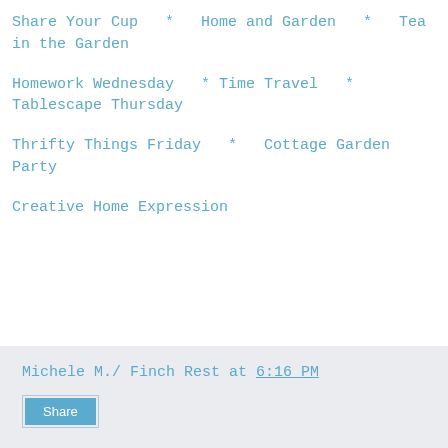Share Your Cup  *  Home and Garden  *  Tea in the Garden
Homework Wednesday  * Time Travel  *  Tablescape Thursday
Thrifty Things Friday  *  Cottage Garden Party
Creative Home Expression
Michele M./ Finch Rest at 6:16 PM Share